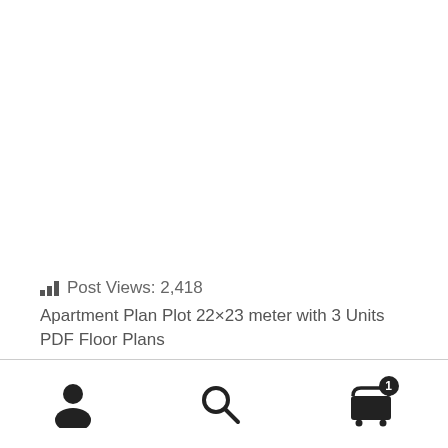Post Views: 2,418
Apartment Plan Plot 22×23 meter with 3 Units PDF Floor Plans
Navigation footer with user, search, and cart (1 item) icons